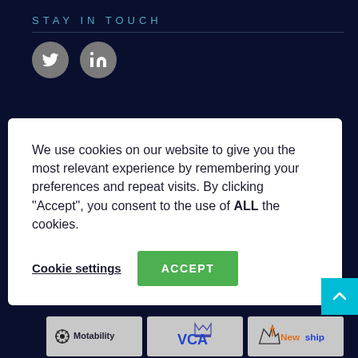STAY IN TOUCH
[Figure (logo): Twitter and LinkedIn social media icons (circular grey buttons)]
We use cookies on our website to give you the most relevant experience by remembering your preferences and repeat visits. By clicking “Accept”, you consent to the use of ALL the cookies.
Cookie settings | ACCEPT
[Figure (logo): Partner logos: Motability, VCA, Newship, Wheelchair Accessible Vehicle Converters Association, RAC Approved Dealer]